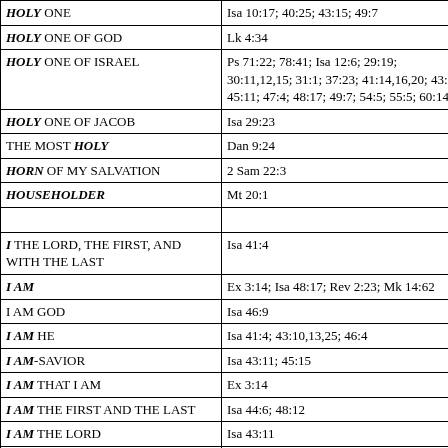| Name/Title | Scripture References |
| --- | --- |
| HOLY ONE | Isa 10:17; 40:25; 43:15; 49:7 |
| HOLY ONE OF GOD | Lk 4:34 |
| HOLY ONE OF ISRAEL | Ps 71:22; 78:41; Isa 12:6; 29:19; 30:11,12,15; 31:1; 37:23; 41:14,16,20; 43:14; 45:11; 47:4; 48:17; 49:7; 54:5; 55:5; 60:14 |
| HOLY ONE OF JACOB | Isa 29:23 |
| THE MOST HOLY | Dan 9:24 |
| HORN OF MY SALVATION | 2 Sam 22:3 |
| HOUSEHOLDER | Mt 20:1 |
|  |  |
| I THE LORD, THE FIRST, AND WITH THE LAST | Isa 41:4 |
| I AM | Ex 3:14; Isa 48:17; Rev 2:23; Mk 14:62 |
| I AM GOD | Isa 46:9 |
| I AM HE | Isa 41:4; 43:10,13,25; 46:4 |
| I AM-SAVIOR | Isa 43:11; 45:15 |
| I AM THAT I AM | Ex 3:14 |
| I AM THE FIRST AND THE LAST | Isa 44:6; 48:12 |
| I AM THE LORD | Isa 43:11 |
| IMMANUEL | Isa 7:14 |
| WHICH IS | Rev 1:8 |
| WHICH IS TO COME | Rev 1:8 |
|  |  |
| JAH | Ps 68:4 |